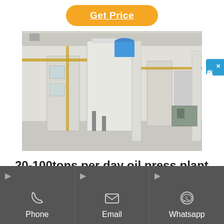[Figure (other): Orange 'Get Price' button with underlined text on white background]
[Figure (photo): Interior of an industrial oil press plant showing large cylindrical tanks, pipes, and processing equipment in a factory setting]
20-100tons per day oil press plant soybean to oil...
Soybean Oil Mill Machine at Best
[Figure (other): Dark grey footer bar with three columns: Phone (phone icon), Email (envelope icon), Whatsapp (whatsapp icon), each with arrow indicators at top left]
[Figure (other): Blue sidebar button with Chinese characters 在线咨询 (online consultation) and an X close button]